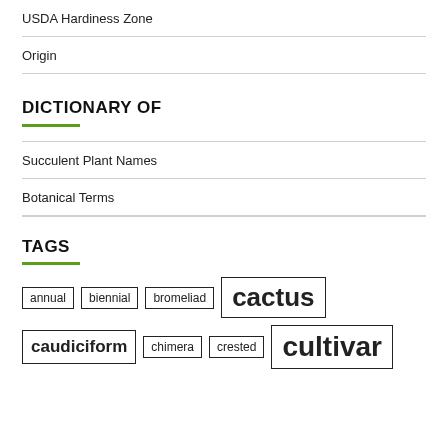USDA Hardiness Zone
Origin
DICTIONARY OF
Succulent Plant Names
Botanical Terms
TAGS
annual biennial bromeliad cactus caudiciform chimera crested cultivar